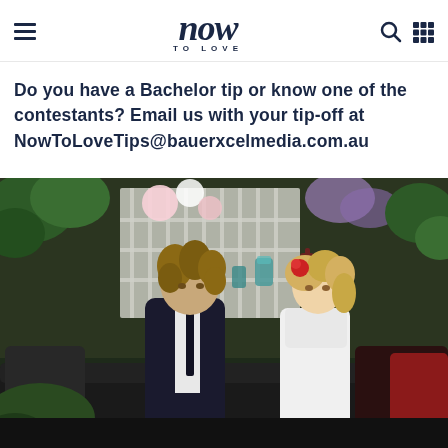Now To Love — navigation header with hamburger menu, logo, search and grid icons
Do you have a Bachelor tip or know one of the contestants? Email us with your tip-off at NowToLoveTips@bauerxcelmedia.com.au
[Figure (photo): A man with curly hair in a dark suit and a woman in a white dress with a red flower in her hair, sitting together in a romantically decorated outdoor setting with flowers and candles in the background — scene from The Bachelor Australia TV show.]